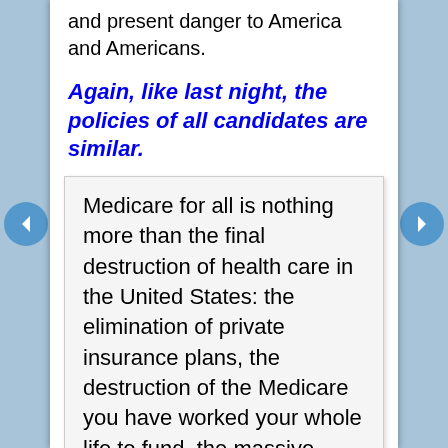and present danger to America and Americans.
Again, like last night, the policies of all candidates are similar.
Medicare for all is nothing more than the final destruction of health care in the United States: the elimination of private insurance plans, the destruction of the Medicare you have worked your whole life to fund, the massive expansion of the welfare program known as Medicaid, and the delay, denial, and death that comes from rationing. It is physically impossible to service more people without increasing